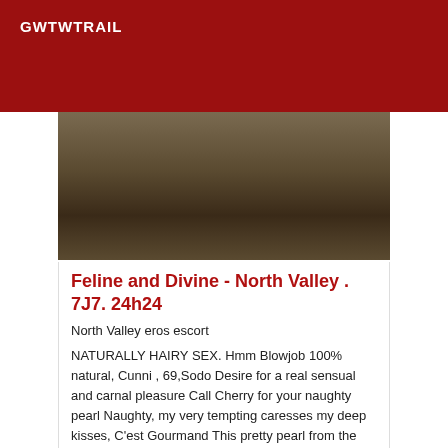GWTWTRAIL
[Figure (photo): Blurry/dark photo, partial view of a room or bed surface]
Feline and Divine - North Valley . 7J7. 24h24
North Valley eros escort
NATURALLY HAIRY SEX. Hmm Blowjob 100% natural, Cunni , 69,Sodo Desire for a real sensual and carnal pleasure Call Cherry for your naughty pearl Naughty, my very tempting caresses my deep kisses, C'est Gourmand This pretty pearl from the islands only to make you realize all your desires A mix of softness, of happiness, spice, and voluptuousness that you will appreciate with pleasure. Hmmm Come vibrate to the real sensation!!!!! Blowjob and Extrasensation Sodo !!!!!!! Naturally hairy sex. Hmmmm